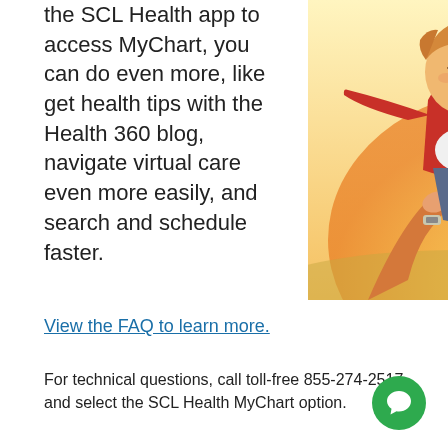the SCL Health app to access MyChart, you can do even more, like get health tips with the Health 360 blog, navigate virtual care even more easily, and search and schedule faster.
[Figure (photo): A smiling child with arms outstretched being tossed in the air by an adult outdoors in a sunny field.]
View the FAQ to learn more.
For technical questions, call toll-free 855-274-2517 and select the SCL Health MyChart option.